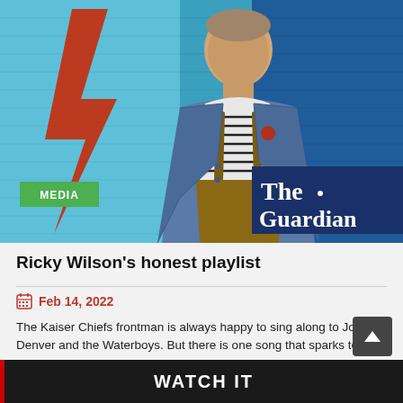[Figure (photo): A man standing in front of a blue brick wall mural with a red lightning bolt (David Bowie-style). He wears a blue jacket over a striped shirt and brown dungarees. A green 'MEDIA' badge is in the lower left and The Guardian logo appears in the lower right of the image.]
Ricky Wilson's honest playlist
Feb 14, 2022
The Kaiser Chiefs frontman is always happy to sing along to John Denver and the Waterboys. But there is one song that sparks tears when no one's around …
READ MORE
WATCH IT